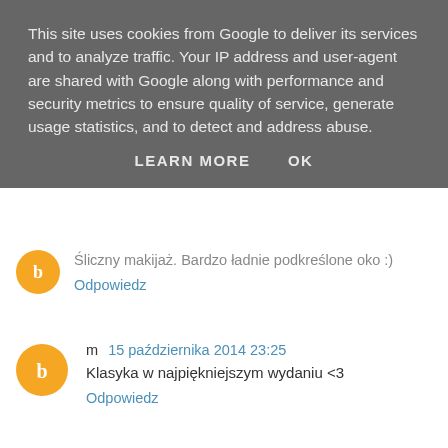This site uses cookies from Google to deliver its services and to analyze traffic. Your IP address and user-agent are shared with Google along with performance and security metrics to ensure quality of service, generate usage statistics, and to detect and address abuse.
LEARN MORE   OK
Śliczny makijaż. Bardzo ładnie podkreślone oko :)
Odpowiedz
m  15 października 2014 23:25
Klasyka w najpiękniejszym wydaniu <3
Odpowiedz
Magdalena  16 października 2014 10:33
Usta, jakie Ty masz cudne usta! :)
Odpowiedz